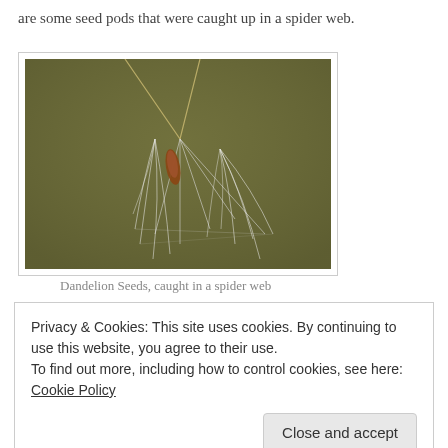are some seed pods that were caught up in a spider web.
[Figure (photo): Photograph of dandelion seed pods caught in a spider web against a dark olive-green background. The seeds hang suspended by fine white strands of the web, with one reddish-brown seed pod visible on the left and delicate white filaments of the dandelion seeds draping downward.]
Dandelion Seeds, caught in a spider web
Privacy & Cookies: This site uses cookies. By continuing to use this website, you agree to their use.
To find out more, including how to control cookies, see here: Cookie Policy
Close and accept